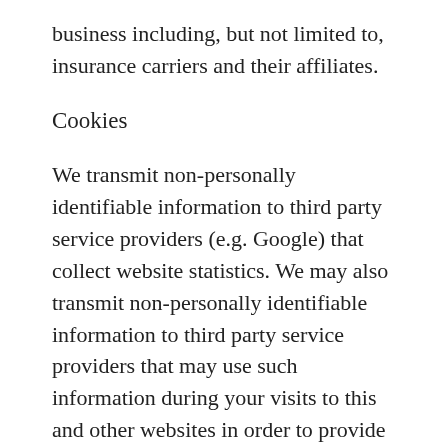business including, but not limited to, insurance carriers and their affiliates.
Cookies
We transmit non-personally identifiable information to third party service providers (e.g. Google) that collect website statistics. We may also transmit non-personally identifiable information to third party service providers that may use such information during your visits to this and other websites in order to provide advertisements about goods and services likely to be of greater interest to you.
One method of collecting such information is